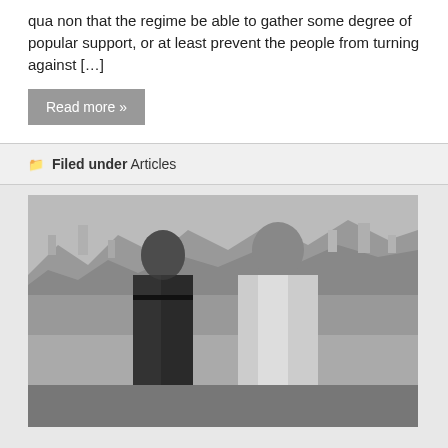qua non that the regime be able to gather some degree of popular support, or at least prevent the people from turning against […]
Read more »
Filed under Articles
[Figure (photo): Black and white photograph of two men standing outdoors with a hillside city and harbor visible in the background. The man on the left is shorter, wearing glasses and a dark suit. The man on the right is taller, wearing a light-colored suit and appears to be laughing.]